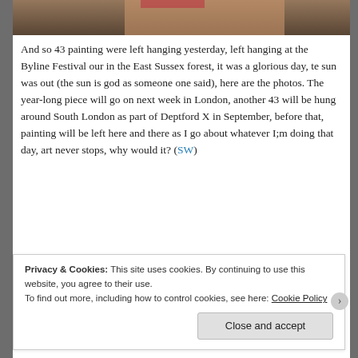[Figure (photo): Partial photo strip at the top of the page showing a person outdoors, cropped.]
And so 43 painting were left hanging yesterday, left hanging at the Byline Festival our in the East Sussex forest, it was a glorious day, te sun was out (the sun is god as someone one said), here are the photos. The year-long piece will go on next week in London, another 43 will be hung around South London as part of Deptford X in September, before that, painting will be left here and there as I go about whatever I;m doing that day, art never stops, why would it? (SW)
Click on an image to enlarge or to run the fractured slideshow from the festival and yesterdays drops…
Privacy & Cookies: This site uses cookies. By continuing to use this website, you agree to their use.
To find out more, including how to control cookies, see here: Cookie Policy
Close and accept